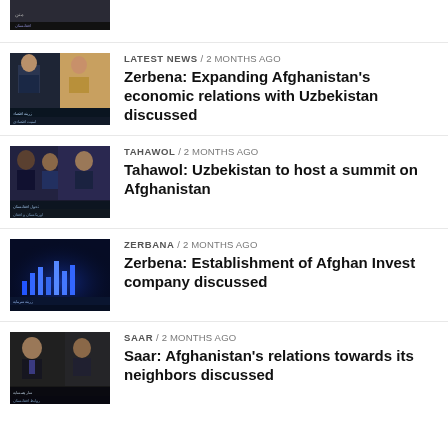[Figure (screenshot): Partially visible TV show thumbnail at top]
[Figure (screenshot): TV show thumbnail showing two news anchors on set, Arabic text overlay]
LATEST NEWS / 2 months ago
Zerbena: Expanding Afghanistan’s economic relations with Uzbekistan discussed
[Figure (screenshot): TV show thumbnail showing two news anchors on set, Arabic text overlay]
TAHAWOL / 2 months ago
Tahawol: Uzbekistan to host a summit on Afghanistan
[Figure (screenshot): TV studio background with blue lighting and graphic elements]
ZERBANA / 2 months ago
Zerbena: Establishment of Afghan Invest company discussed
[Figure (screenshot): TV show thumbnail showing news anchors on set, Arabic text overlay]
SAAR / 2 months ago
Saar: Afghanistan’s relations towards its neighbors discussed